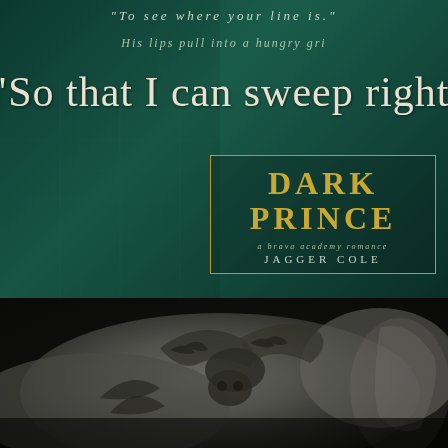"To see where your line is."
His lips pull into a hungry gri
"So that I can sweep right fuck
DARK PRINCE
a brava academy romance
JAGGER COLE
[Figure (photo): Black and white close-up photograph of a tattooed person, showing intricate tattoos of an eagle/bird design on skin, intimate embrace scene]